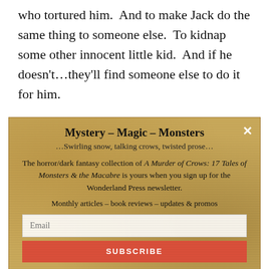who tortured him.  And to make Jack do the same thing to someone else.  To kidnap some other innocent little kid.  And if he doesn't…they'll find someone else to do it for him.
Someone not as nice…
[Figure (other): Newsletter signup modal popup with parchment texture background. Title: Mystery - Magic - Monsters. Subtitle: ...Swirling snow, talking crows, twisted prose... Body text about A Murder of Crows: 17 Tales of Monsters & the Macabre collection. Email input field and Subscribe button.]